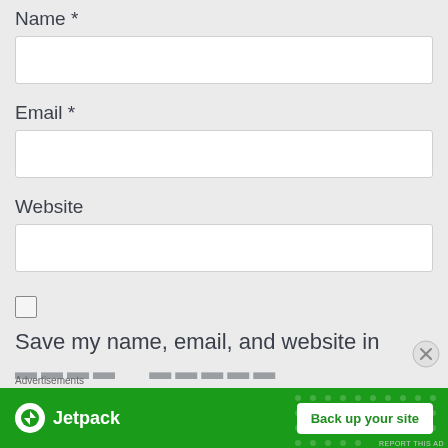Name *
[Figure (other): Text input field for Name]
Email *
[Figure (other): Text input field for Email]
Website
[Figure (other): Text input field for Website]
Save my name, email, and website in
Advertisements
[Figure (other): Jetpack advertisement banner with 'Back up your site' button]